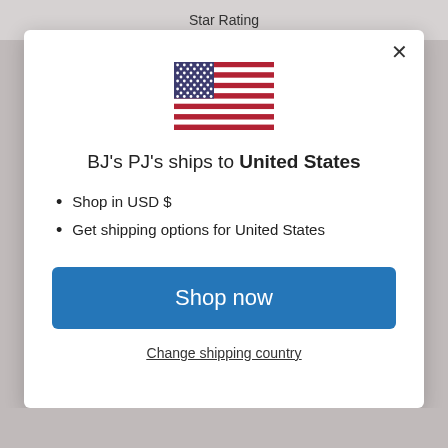Star Rating
[Figure (illustration): US flag emoji/icon centered in modal]
BJ's PJ's ships to United States
Shop in USD $
Get shipping options for United States
Shop now
Change shipping country